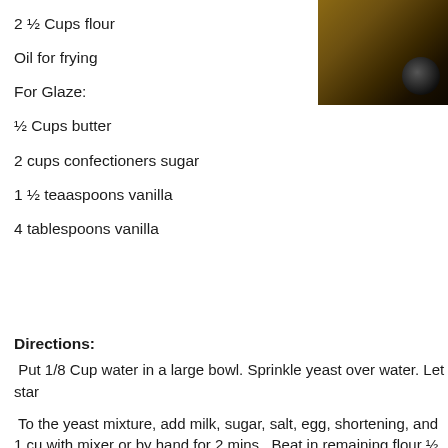2 ½ Cups flour
Oil for frying
For Glaze:
½ Cups butter
2 cups confectioners sugar
1 ½ teaaspoons vanilla
4 tablespoons vanilla
[Figure (photo): Close-up photo of what appears to be a dark circular object (possibly a donut or cooking utensil) on a wooden surface, partially cropped at top-right corner of page]
Directions:
Put 1/8 Cup water in a large bowl. Sprinkle yeast over water. Let star
To the yeast mixture, add milk, sugar, salt, egg, shortening, and 1 cu with mixer or by hand for 2 mins.  Beat in remaining flour ½ cup at a t sticks to the sides of the bowl.  Knead for about 5 mins until the doug Place dough in a greased bowl. Cover with a dishtowel and place in a double volume.
Turn dough onto a floured surface and roll out to ½ inch thickness.  C